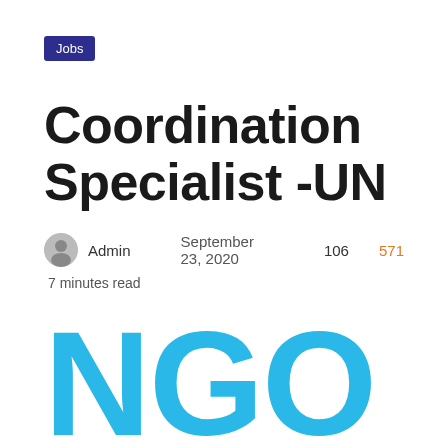Jobs
Coordination Specialist -UN
Admin   September 23, 2020   106   571
7 minutes read
[Figure (illustration): Large cyan/blue letters 'NGO' partially visible at the bottom of the page]